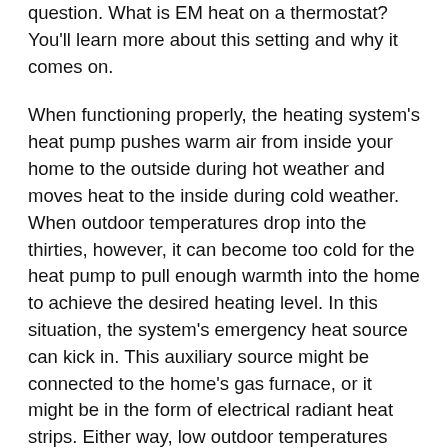question. What is EM heat on a thermostat? You'll learn more about this setting and why it comes on.
When functioning properly, the heating system's heat pump pushes warm air from inside your home to the outside during hot weather and moves heat to the inside during cold weather. When outdoor temperatures drop into the thirties, however, it can become too cold for the heat pump to pull enough warmth into the home to achieve the desired heating level. In this situation, the system's emergency heat source can kick in. This auxiliary source might be connected to the home's gas furnace, or it might be in the form of electrical radiant heat strips. Either way, low outdoor temperatures make it tougher for the heat pump to warm up your home on its own, so your EM heat helps pick up the slack.
In a system that is functioning normally, EM heat should kick in automatically during the phases of the heat pump's cycle when it turns off to equilibrate, but started from the